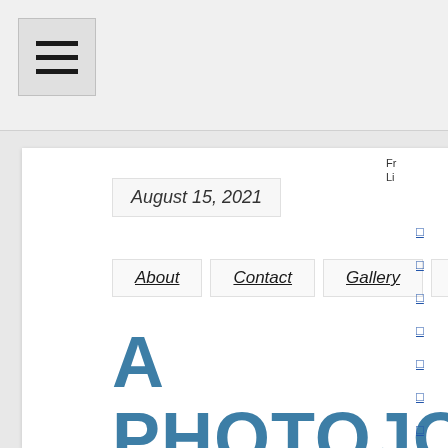[Figure (other): Hamburger menu button icon with three horizontal lines]
August 15, 2021
About  Contact  Gallery  News
A PHOTOJOURNALIST AND HER